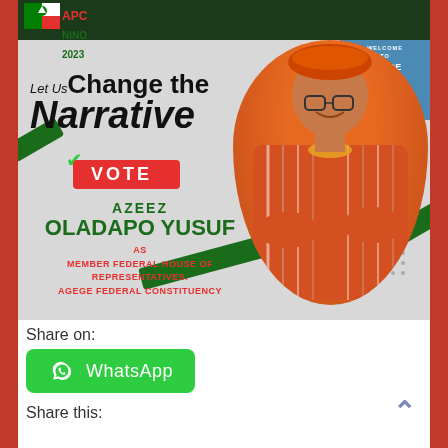[Figure (illustration): Political campaign poster for APC NINO 2023. Features the slogan 'Let Us Change the Narrative', a VOTE button, and candidate name AZEEZ OLADAPO YUSUF running for Member Federal House of Representatives, Agege Federal Constituency. Photo of candidate in traditional orange attire. Green and blue accents with APC party branding.]
Share on:
WhatsApp
Share this: